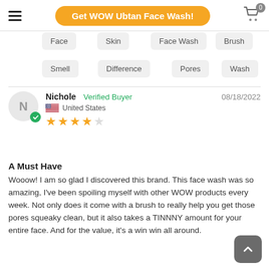Get WOW Ubtan Face Wash!
Face
Skin
Face Wash
Brush
Smell
Difference
Pores
Wash
Nichole  Verified Buyer  08/18/2022  United States  ★★★★★
A Must Have
Wooow! I am so glad I discovered this brand. This face wash was so amazing, I've been spoiling myself with other WOW products every week. Not only does it come with a brush to really help you get those pores squeaky clean, but it also takes a TINNNY amount for your entire face. And for the value, it's a win win all around.